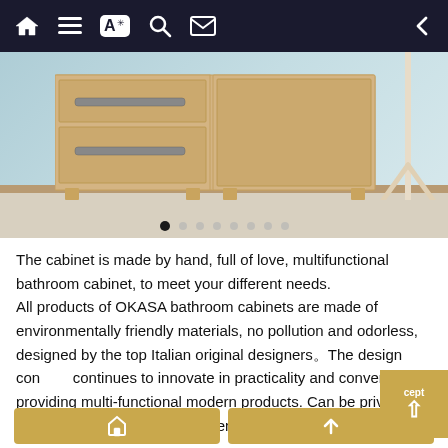[Figure (screenshot): Mobile app navigation bar with icons: home, list/menu, translate (A with star), search, mail/envelope on dark background, and back arrow on right]
[Figure (photo): Photograph of a light tan/beige wooden bathroom cabinet with drawers and door, placed against a blue-green wall. A white towel rack is partially visible on the right. Image carousel with 8 dots below, first dot active.]
The cabinet is made by hand, full of love, multifunctional bathroom cabinet, to meet your different needs.
All products of OKASA bathroom cabinets are made of environmentally friendly materials, no pollution and odorless, designed by the top Italian original designers。The design concept continues to innovate in practicality and convenience, providing multi-functional modern products. Can be privately customized to meet your different needs.
[Figure (screenshot): Partial view of two gold/amber colored buttons at the bottom of the page, each with an icon]